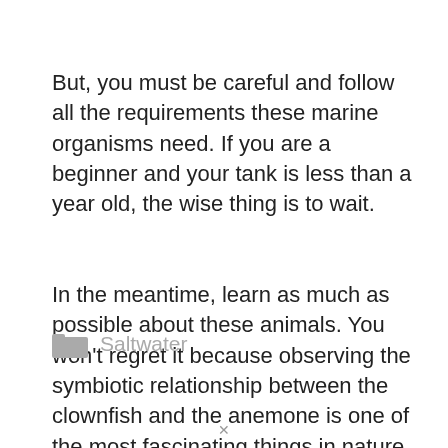But, you must be careful and follow all the requirements these marine organisms need. If you are a beginner and your tank is less than a year old, the wise thing is to wait.
In the meantime, learn as much as possible about these animals. You won't regret it because observing the symbiotic relationship between the clownfish and the anemone is one of the most fascinating things in nature.
Saltwater